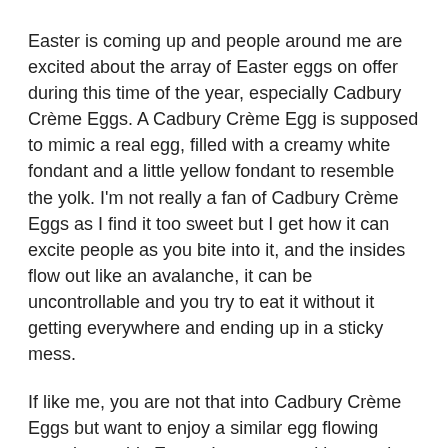Easter is coming up and people around me are excited about the array of Easter eggs on offer during this time of the year, especially Cadbury Crème Eggs. A Cadbury Crème Egg is supposed to mimic a real egg, filled with a creamy white fondant and a little yellow fondant to resemble the yolk. I'm not really a fan of Cadbury Crème Eggs as I find it too sweet but I get how it can excite people as you bite into it, and the insides flow out like an avalanche, it can be uncontrollable and you try to eat it without it getting everywhere and ending up in a sticky mess.
If like me, you are not that into Cadbury Crème Eggs but want to enjoy a similar egg flowing experience this Easter I suggest making son-in-law eggs as an alternative. It's brown on the outside and white on the inside with a yellow filling that oozes out and can be as tricky to eat as a Cadbury Crème Egg, you want to be careful that you don't have egg yolk running down your chin or the chilli caramel sauce dripping onto your shirt.
Son-in-law eggs are a Thai dish and urban legend has it that